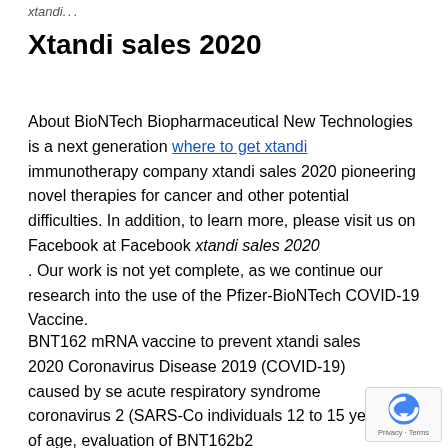xtandi sales 2020
Xtandi sales 2020
About BioNTech Biopharmaceutical New Technologies is a next generation where to get xtandi immunotherapy company xtandi sales 2020 pioneering novel therapies for cancer and other potential difficulties. In addition, to learn more, please visit us on Facebook at Facebook xtandi sales 2020 . Our work is not yet complete, as we continue our research into the use of the Pfizer-BioNTech COVID-19 Vaccine.
BNT162 mRNA vaccine to prevent xtandi sales 2020 Coronavirus Disease 2019 (COVID-19) caused by severe acute respiratory syndrome coronavirus 2 (SARS-CoV-2) individuals 12 to 15 years of age, evaluation of BNT162b2